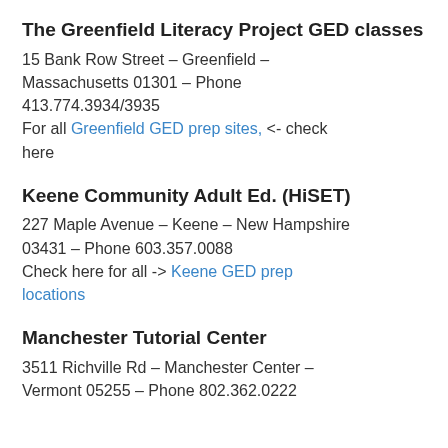The Greenfield Literacy Project GED classes
15 Bank Row Street – Greenfield – Massachusetts 01301 – Phone 413.774.3934/3935
For all Greenfield GED prep sites, <- check here
Keene Community Adult Ed. (HiSET)
227 Maple Avenue – Keene – New Hampshire 03431 – Phone 603.357.0088
Check here for all -> Keene GED prep locations
Manchester Tutorial Center
3511 Richville Rd – Manchester Center – Vermont 05255 – Phone 802.362.0222